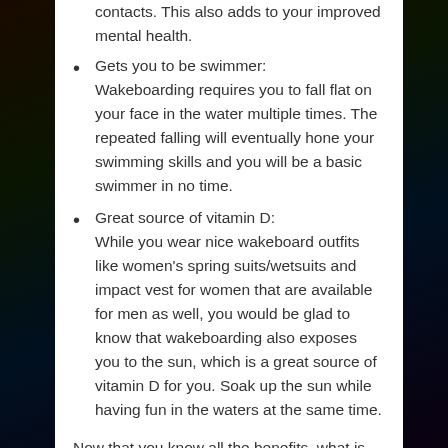contacts. This also adds to your improved mental health.
Gets you to be swimmer: Wakeboarding requires you to fall flat on your face in the water multiple times. The repeated falling will eventually hone your swimming skills and you will be a basic swimmer in no time.
Great source of vitamin D: While you wear nice wakeboard outfits like women’s spring suits/wetsuits and impact vest for women that are available for men as well, you would be glad to know that wakeboarding also exposes you to the sun, which is a great source of vitamin D for you. Soak up the sun while having fun in the waters at the same time.
Now that you know all the benefits, what is stooping you from wakeboarding? Go head out now to try the